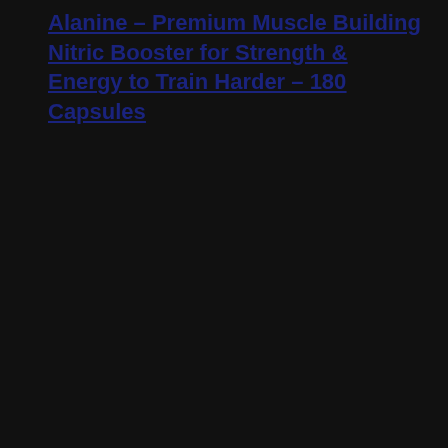Alanine – Premium Muscle Building Nitric Booster for Strength & Energy to Train Harder – 180 Capsules